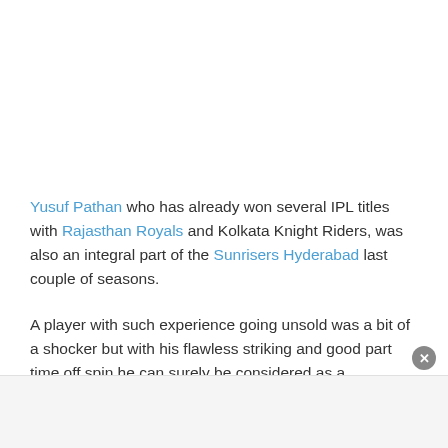Yusuf Pathan who has already won several IPL titles with Rajasthan Royals and Kolkata Knight Riders, was also an integral part of the Sunrisers Hyderabad last couple of seasons.
A player with such experience going unsold was a bit of a shocker but with his flawless striking and good part time off spin he can surely be considered as a